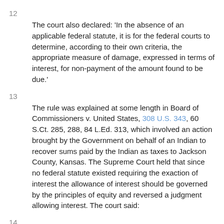12
The court also declared: 'In the absence of an applicable federal statute, it is for the federal courts to determine, according to their own criteria, the appropriate measure of damage, expressed in terms of interest, for non-payment of the amount found to be due.'
13
The rule was explained at some length in Board of Commissioners v. United States, 308 U.S. 343, 60 S.Ct. 285, 288, 84 L.Ed. 313, which involved an action brought by the Government on behalf of an Indian to recover sums paid by the Indian as taxes to Jackson County, Kansas. The Supreme Court held that since no federal statute existed requiring the exaction of interest the allowance of interest should be governed by the principles of equity and reversed a judgment allowing interest. The court said:
14
' * * * In ordinary suits where the Government seeks, as between itself and a private litigant, to enforce a money claim ultimately derived from a federal law, thus implying a wish of Congress to collect what it deemed fairly owing according to the traditional notions of Anglo-American law, this Court has chosen that rule as to